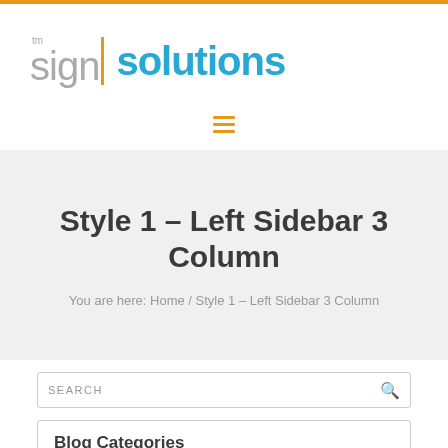[Figure (logo): TM sign solutions logo with grey 'sign' text and blue 'solutions' text, orange border accent]
[Figure (infographic): Orange hamburger menu icon (three horizontal lines)]
Style 1 – Left Sidebar 3 Column
You are here: Home / Style 1 – Left Sidebar 3 Column
SEARCH
Blog Categories